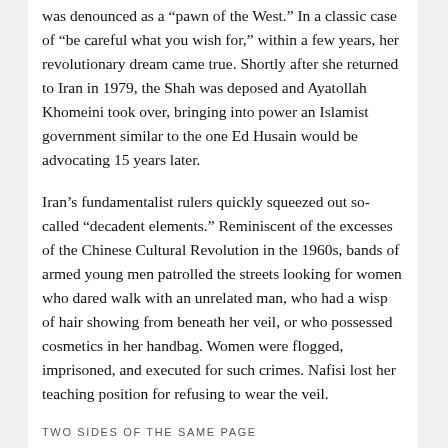was denounced as a “pawn of the West.” In a classic case of “be careful what you wish for,” within a few years, her revolutionary dream came true. Shortly after she returned to Iran in 1979, the Shah was deposed and Ayatollah Khomeini took over, bringing into power an Islamist government similar to the one Ed Husain would be advocating 15 years later.
Iran’s fundamentalist rulers quickly squeezed out so-called “decadent elements.” Reminiscent of the excesses of the Chinese Cultural Revolution in the 1960s, bands of armed young men patrolled the streets looking for women who dared walk with an unrelated man, who had a wisp of hair showing from beneath her veil, or who possessed cosmetics in her handbag. Women were flogged, imprisoned, and executed for such crimes. Nafisi lost her teaching position for refusing to wear the veil.
TWO SIDES OF THE SAME PAGE
The two books cover the Islamist movement from two entirely different perspectives and in two vastly different